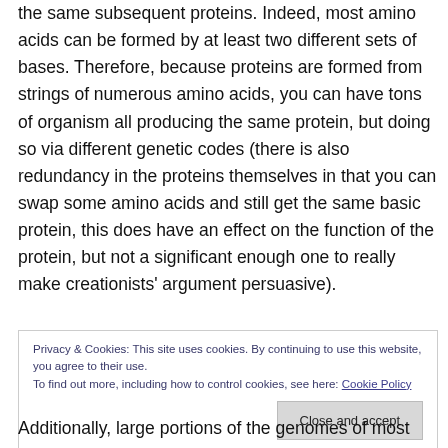the same subsequent proteins. Indeed, most amino acids can be formed by at least two different sets of bases. Therefore, because proteins are formed from strings of numerous amino acids, you can have tons of organism all producing the same protein, but doing so via different genetic codes (there is also redundancy in the proteins themselves in that you can swap some amino acids and still get the same basic protein, this does have an effect on the function of the protein, but not a significant enough one to really make creationists' argument persuasive).
Privacy & Cookies: This site uses cookies. By continuing to use this website, you agree to their use. To find out more, including how to control cookies, see here: Cookie Policy
Additionally, large portions of the genomes of most